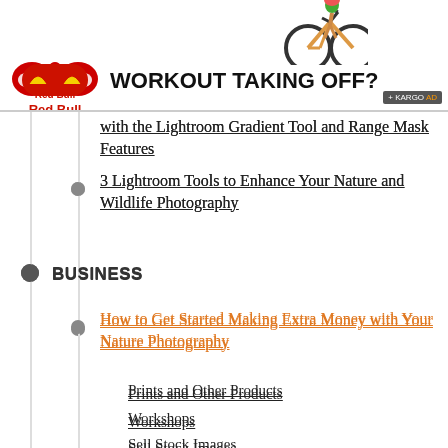[Figure (illustration): Red Bull advertisement banner with cyclist illustration, Red Bull logo, and text 'WORKOUT TAKING OFF?']
with the Lightroom Gradient Tool and Range Mask Features
3 Lightroom Tools to Enhance Your Nature and Wildlife Photography
BUSINESS
How to Get Started Making Extra Money with Your Nature Photography
Prints and Other Products
Workshops
Sell Stock Images
Selling to Publications
In Conclusion